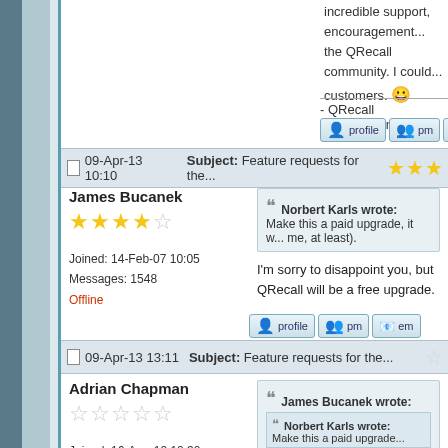incredible support, encouragement... the QRecall community. I could... customers. 😀
- QRecall Development -
09-Apr-13 10:10   Subject: Feature requests for the...
James Bucanek
★★★★☆
Joined: 14-Feb-07 10:05
Messages: 1548
Offline
Norbert Karls wrote:
Make this a paid upgrade, it w... me, at least).
I'm sorry to disappoint you, but QRecall will be a free upgrade.
09-Apr-13 13:11   Subject: Feature requests for the...
Adrian Chapman
☆☆☆☆☆
Joined: 16-Aug-10 10:30
Messages: 72
James Bucanek wrote:
Norbert Karls wrote:
Make this a paid upgrade...